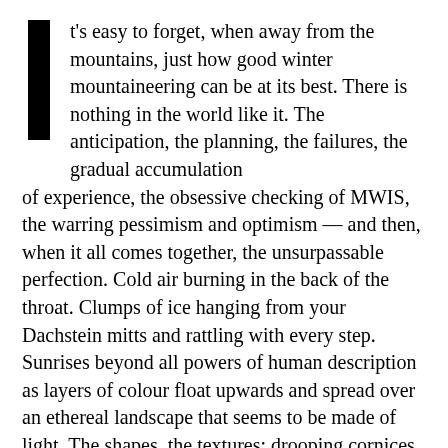It's easy to forget, when away from the mountains, just how good winter mountaineering can be at its best. There is nothing in the world like it. The anticipation, the planning, the failures, the gradual accumulation of experience, the obsessive checking of MWIS, the warring pessimism and optimism — and then, when it all comes together, the unsurpassable perfection. Cold air burning in the back of the throat. Clumps of ice hanging from your Dachstein mitts and rattling with every step. Sunrises beyond all powers of human description as layers of colour float upwards and spread over an ethereal landscape that seems to be made of light. The shapes, the textures: drooping cornices, delicate flutings, fractal feathers of rime, hissing tornadoes of graupel. Blue and white, sound and silence. Then reaching the summit and feeling like a god.